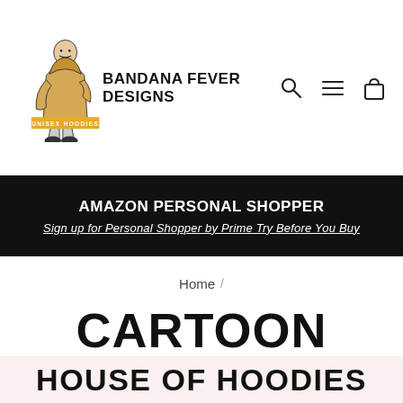[Figure (logo): Bandana Fever Designs logo — illustrated person sitting, with bold text 'BANDANA FEVER DESIGNS' and yellow badge 'UNISEX HOODIES'. Navigation icons: search, hamburger menu, shopping bag.]
AMAZON PERSONAL SHOPPER
Sign up for Personal Shopper by Prime Try Before You Buy
Home /
CARTOON HOODIES
HOUSE OF HOODIES